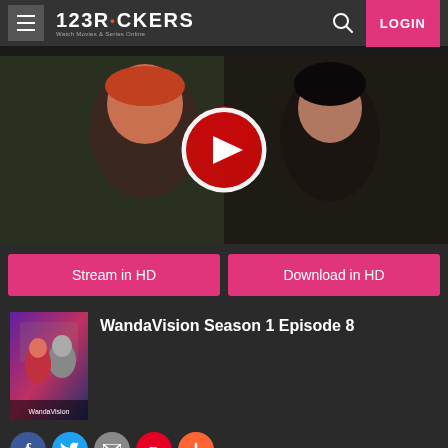123ROCKERS - Watch Movies & Series Online | LOGIN
[Figure (screenshot): Video thumbnail showing two women from WandaVision with a red play button overlay in the center]
Stream in HD
Download in HD
WandaVision Season 1 Episode 8
[Figure (photo): WandaVision promotional poster showing Wanda and Vision]
Social share icons: Facebook, Twitter, Email, Pinterest, Plus